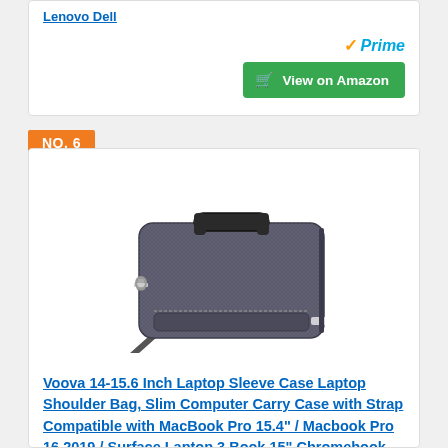Lenovo Dell
[Figure (other): Amazon Prime badge with checkmark and View on Amazon green button with cart icon]
NO. 6
[Figure (photo): Dark grey laptop shoulder bag / sleeve case with handles and shoulder strap, shown in product photo on white background]
Voova 14-15.6 Inch Laptop Sleeve Case Laptop Shoulder Bag, Slim Computer Carry Case with Strap Compatible with MacBook Pro 15.4" / Macbook Pro 16 2019 / Surface Laptop 3 Book 15" Chromebook XPS S...